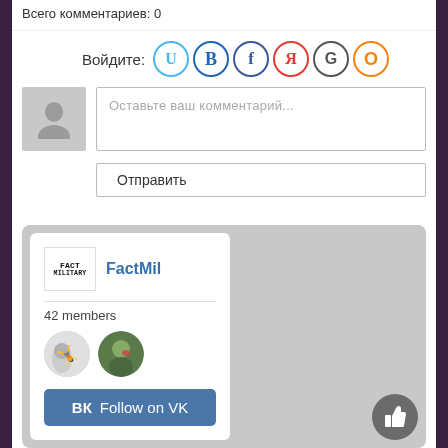Всего комментариев: 0
Войдите: U В f Я G О
Оставьте ваш комментарий...
Отправить
[Figure (screenshot): VK widget card showing FactMil group with logo, 42 members, two member avatars, and a Follow on VK button]
КАТЕГОРИИ РАЗДЕЛА